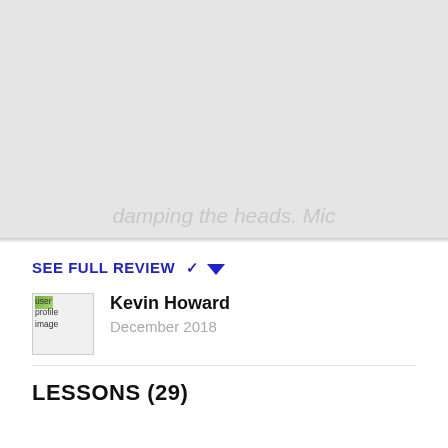[Figure (photo): Gray placeholder area representing a video or image content block with faded italic text at the bottom reading 'damping the heads. Mic']
SEE FULL REVIEW ▾
Kevin Howard
December 2018
LESSONS (29)